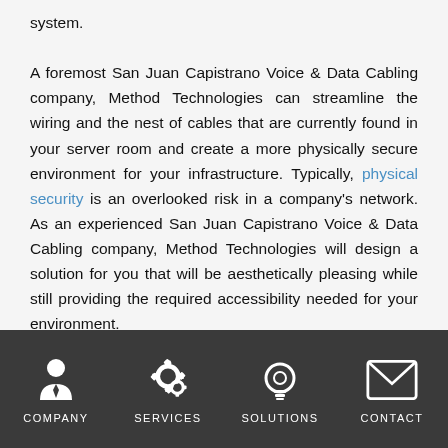system. A foremost San Juan Capistrano Voice & Data Cabling company, Method Technologies can streamline the wiring and the nest of cables that are currently found in your server room and create a more physically secure environment for your infrastructure. Typically, physical security is an overlooked risk in a company's network. As an experienced San Juan Capistrano Voice & Data Cabling company, Method Technologies will design a solution for you that will be aesthetically pleasing while still providing the required accessibility needed for your environment.
[Figure (infographic): Dark navigation footer bar with four icons and labels: COMPANY (person/avatar icon), SERVICES (gear icons), SOLUTIONS (lightbulb icon), CONTACT (envelope icon)]